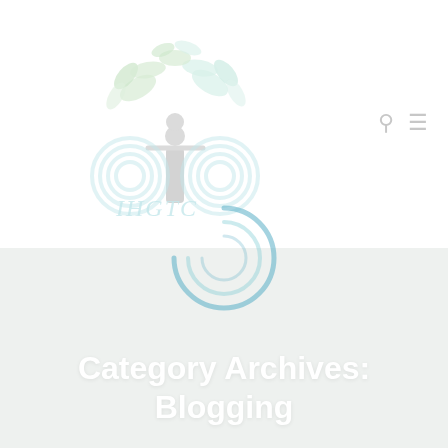[Figure (logo): IHGTC logo: a stylized tree with green leaves, teal/blue circular root patterns, a gray human figure in the center, and the text IHGTC below]
[Figure (other): A circular loading spinner icon in blue/teal, partially visible, overlapping the logo and banner]
Category Archives:
Blogging